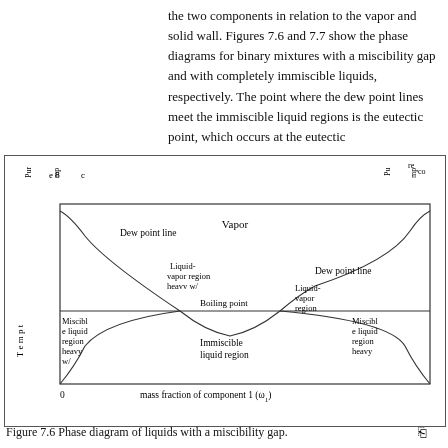the two components in relation to the vapor and solid wall. Figures 7.6 and 7.7 show the phase diagrams for binary mixtures with a miscibility gap and with completely immiscible liquids, respectively. The point where the dew point lines meet the immiscible liquid regions is the eutectic point, which occurs at the eutectic
[Figure (engineering-diagram): Phase diagram of liquids with a miscibility gap. Shows temperature vs mass fraction of component 1. Regions labeled: Vapor (top center), Dew point line (left and right), Liquid-vapor region heavy w/ (left center), Miscible liquid region heavy w/ (far left), Boiling point (center), Liquid-vapor region (right center), Miscible liquid region heavy (far right), Immiscible liquid region (bottom center). Axes: y=Temperature, x=mass fraction of component 1 (omega_1). Left axis labels: Pure comp (vertical), right axis: Pure comp (vertical).]
Figure 7.6 Phase diagram of liquids with a miscibility gap.